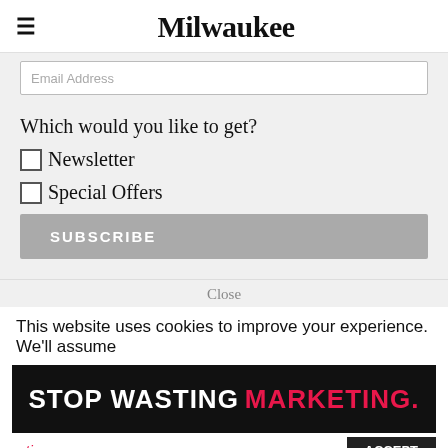Milwaukee
Email Address
Which would you like to get?
Newsletter
Special Offers
SUBSCRIBE
Close
This website uses cookies to improve your experience. We'll assume
[Figure (screenshot): Advertisement banner with dark background reading STOP WASTING MARKETING. in white and red bold text]
ratings
ACCEPT